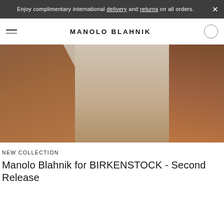Enjoy complimentary international delivery and returns on all orders.
MANOLO BLAHNIK
[Figure (photo): Fashion editorial photo showing close-up of a model's arms and upper body on a neutral background]
NEW COLLECTION
Manolo Blahnik for BIRKENSTOCK - Second Release